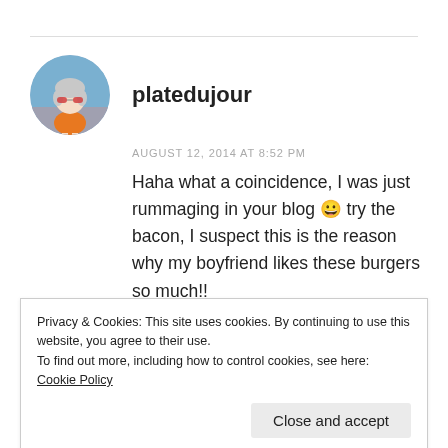[Figure (photo): Round avatar of an anime-style character with white/grey hair and sunglasses wearing an orange outfit]
platedujour
AUGUST 12, 2014 AT 8:52 PM
Haha what a coincidence, I was just rummaging in your blog 😀 try the bacon, I suspect this is the reason why my boyfriend likes these burgers so much!!
★ Like
Privacy & Cookies: This site uses cookies. By continuing to use this website, you agree to their use.
To find out more, including how to control cookies, see here: Cookie Policy
Close and accept
[Figure (photo): Partial round avatar showing a character with curly reddish hair]
Ginger